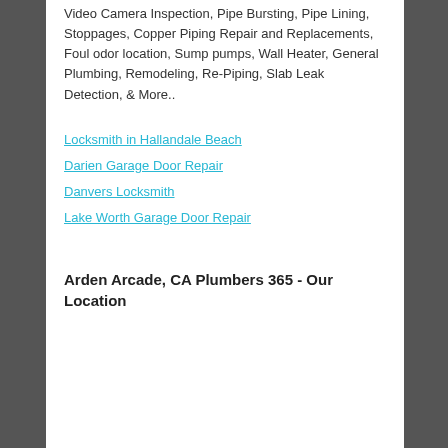Video Camera Inspection, Pipe Bursting, Pipe Lining, Stoppages, Copper Piping Repair and Replacements, Foul odor location, Sump pumps, Wall Heater, General Plumbing, Remodeling, Re-Piping, Slab Leak Detection, & More..
Locksmith in Hallandale Beach
Darien Garage Door Repair
Danvers Locksmith
Lake Worth Garage Door Repair
Arden Arcade, CA Plumbers 365 - Our Location